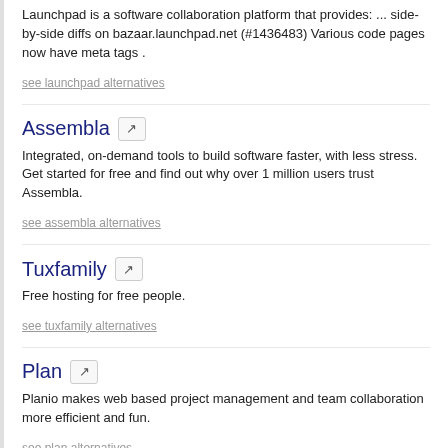Launchpad is a software collaboration platform that provides: ... side-by-side diffs on bazaar.launchpad.net (#1436483) Various code pages now have meta tags .
see launchpad alternatives
Assembla
Integrated, on-demand tools to build software faster, with less stress. Get started for free and find out why over 1 million users trust Assembla.
see assembla alternatives
Tuxfamily
Free hosting for free people.
see tuxfamily alternatives
Plan
Planio makes web based project management and team collaboration more efficient and fun.
see plan alternatives
Unfuddle
Unfuddle's project management tools bring your projects to life. Create your best stuff, enjoy the process, & love the results. Start your FREE TRIAL now!
see unfuddle alternatives
Codebasehq
Code hosting platform with project management tools built for...